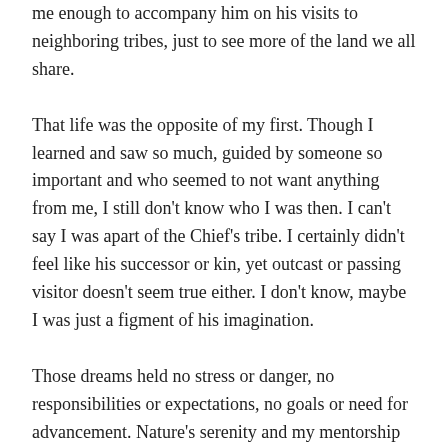me enough to accompany him on his visits to neighboring tribes, just to see more of the land we all share.
That life was the opposite of my first. Though I learned and saw so much, guided by someone so important and who seemed to not want anything from me, I still don’t know who I was then. I can’t say I was apart of the Chief’s tribe. I certainly didn’t feel like his successor or kin, yet outcast or passing visitor doesn’t seem true either. I don’t know, maybe I was just a figment of his imagination.
Those dreams held no stress or danger, no responsibilities or expectations, no goals or need for advancement. Nature’s serenity and my mentorship gave me great peace. I don’t know when or how I